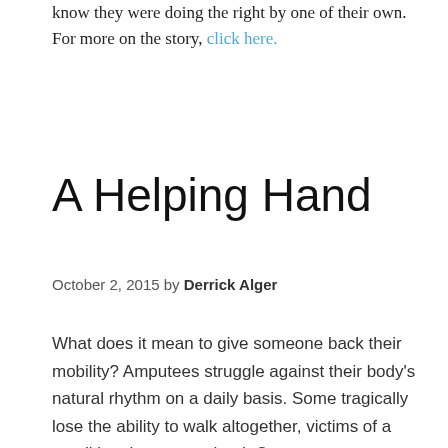know they were doing the right by one of their own. For more on the story, click here.
A Helping Hand
October 2, 2015 by Derrick Alger
What does it mean to give someone back their mobility? Amputees struggle against their body's natural rhythm on a daily basis. Some tragically lose the ability to walk altogether, victims of a condition that cannot heal. Once gone, a person can only cope with their new life, and do their best with expensive prosthesis to fill the missing